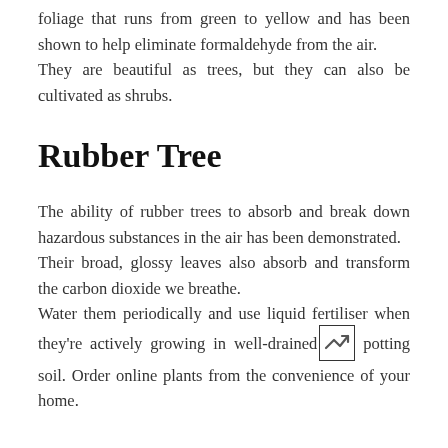foliage that runs from green to yellow and has been shown to help eliminate formaldehyde from the air. They are beautiful as trees, but they can also be cultivated as shrubs.
Rubber Tree
The ability of rubber trees to absorb and break down hazardous substances in the air has been demonstrated. Their broad, glossy leaves also absorb and transform the carbon dioxide we breathe. Water them periodically and use liquid fertiliser when they're actively growing in well-drained potting soil. Order online plants from the convenience of your home.